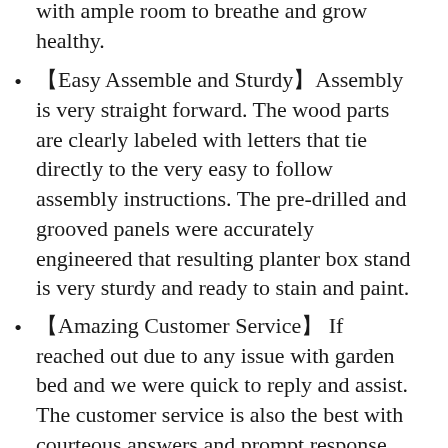with ample room to breathe and grow healthy.
【Easy Assemble and Sturdy】Assembly is very straight forward. The wood parts are clearly labeled with letters that tie directly to the very easy to follow assembly instructions. The pre-drilled and grooved panels were accurately engineered that resulting planter box stand is very sturdy and ready to stain and paint.
【Amazing Customer Service】 If reached out due to any issue with garden bed and we were quick to reply and assist. The customer service is also the best with courteous answers and prompt response within 24 hours.